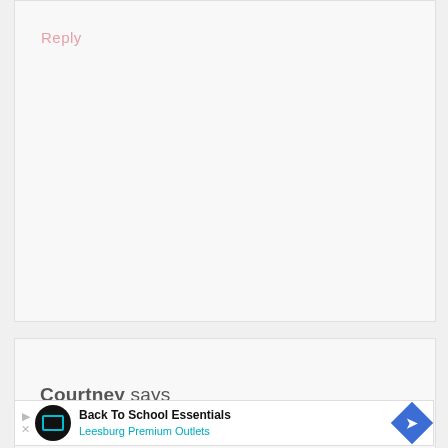Reply
Courtney says
July 20, 2016 at 4:29 pm
I made them in muffin tins and it took about 30 mins on 350!! Also so so yummy my boyfriend loved them
[Figure (other): Accessibility icon - blue circle with white person figure]
Back To School Essentials Leesburg Premium Outlets